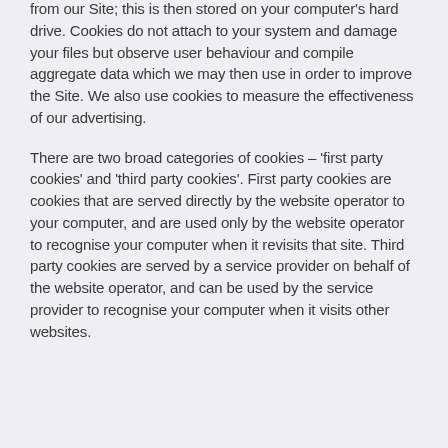from our Site; this is then stored on your computer's hard drive. Cookies do not attach to your system and damage your files but observe user behaviour and compile aggregate data which we may then use in order to improve the Site. We also use cookies to measure the effectiveness of our advertising.
There are two broad categories of cookies – 'first party cookies' and 'third party cookies'. First party cookies are cookies that are served directly by the website operator to your computer, and are used only by the website operator to recognise your computer when it revisits that site. Third party cookies are served by a service provider on behalf of the website operator, and can be used by the service provider to recognise your computer when it visits other websites.